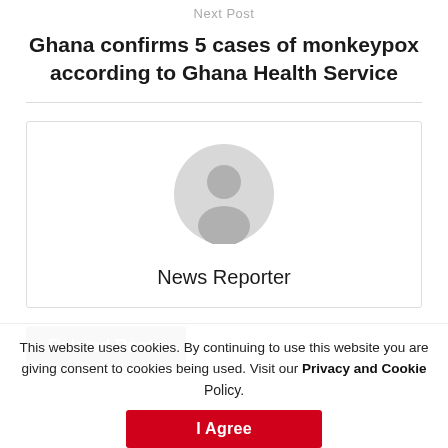Next Post
Ghana confirms 5 cases of monkeypox according to Ghana Health Service
[Figure (illustration): Author avatar placeholder — grey circular user silhouette icon]
News Reporter
Related Posts
This website uses cookies. By continuing to use this website you are giving consent to cookies being used. Visit our Privacy and Cookie Policy.